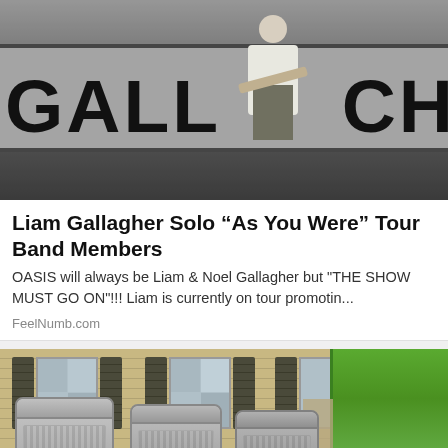[Figure (photo): Concert photo showing a performer on stage in front of a large banner reading 'GALL' (part of Gallagher). The performer is wearing a white t-shirt and appears to be playing guitar. Dark, blurred background.]
Liam Gallagher Solo “As You Were” Tour Band Members
OASIS will always be Liam & Noel Gallagher but "THE SHOW MUST GO ON"!!! Liam is currently on tour promotin...
FeelNumb.com
[Figure (photo): Exterior photo of a house showing two large HVAC/air conditioning units on the ground outside. The house has wooden shutters and windows visible. Green trees are visible in the background on the right.]